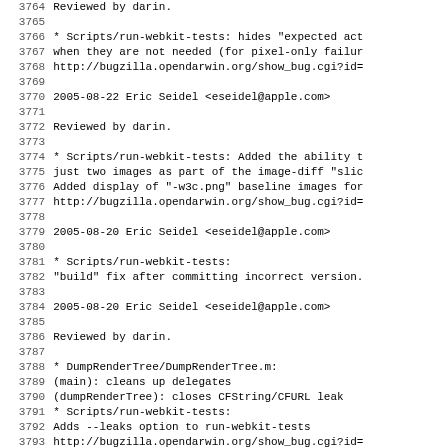Code changelog log viewer showing lines 3764-3795 with commit entries for Eric Seidel and Ben La Monica, dated 2005-08-22, 2005-08-20, and 2005-08-19.